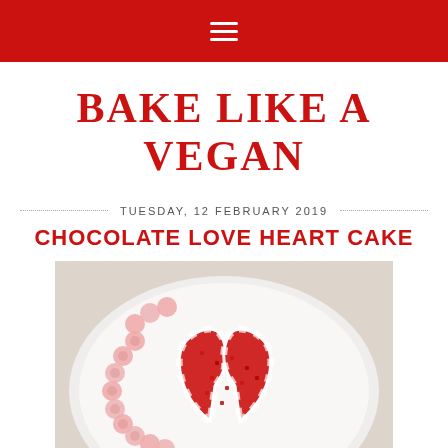☰
BAKE LIKE A VEGAN
TUESDAY, 12 FEBRUARY 2019
CHOCOLATE LOVE HEART CAKE
[Figure (photo): A chocolate cake decorated with pink rosette piping around the edge and two candy canes arranged in a heart shape on top, covered with red sugar sprinkles, on a white surface]